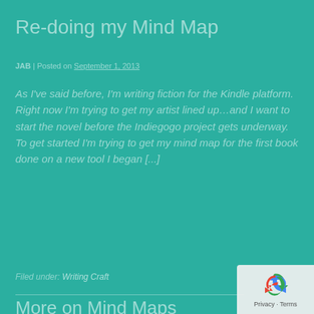Re-doing my Mind Map
JAB | Posted on September 1, 2013
As I've said before, I'm writing fiction for the Kindle platform. Right now I'm trying to get my artist lined up…and I want to start the novel before the Indiegogo project gets underway. To get started I'm trying to get my mind map for the first book done on a new tool I began [...]
Read more
Filed under: Writing Craft
More on Mind Maps
[Figure (logo): reCAPTCHA badge with recycling arrow icon and Privacy / Terms links]